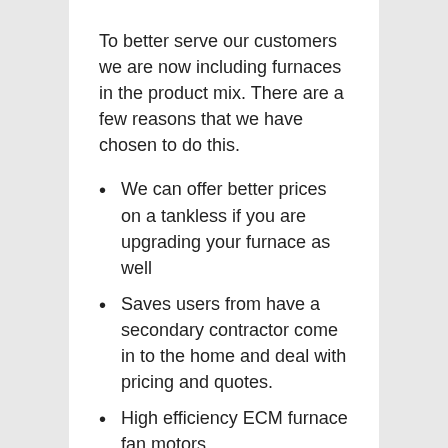To better serve our customers we are now including furnaces in the product mix. There are a few reasons that we have chosen to do this.
We can offer better prices on a tankless if you are upgrading your furnace as well
Saves users from have a secondary contractor come in to the home and deal with pricing and quotes.
High efficiency ECM furnace fan motors.
Clients are happy with our